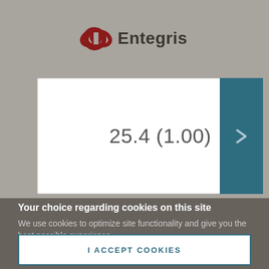[Figure (logo): Entegris company logo with stylized double-loop red icon and 'Entegris' text in dark gray]
25.4 (1.00)
Your choice regarding cookies on this site
We use cookies to optimize site functionality and give you the best possible experience.
I ACCEPT COOKIES
SETTINGS